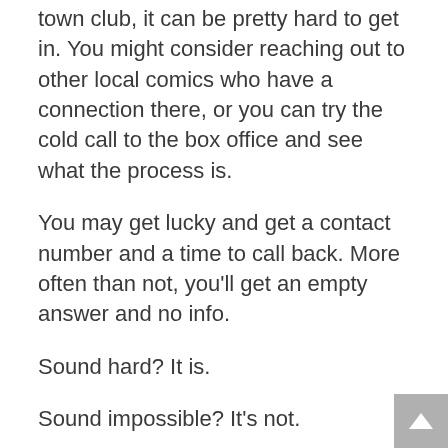town club, it can be pretty hard to get in. You might consider reaching out to other local comics who have a connection there, or you can try the cold call to the box office and see what the process is.
You may get lucky and get a contact number and a time to call back. More often than not, you'll get an empty answer and no info.
Sound hard? It is.
Sound impossible? It's not.
The overall message here is to be constantly building your network of fellow comics. Offer help to them in any way possible. They will reciprocate. Make notes and keep track of who works where, and what each club's process is for lining up showcases for new comics. Be purposeful (not overbearing or irritating) in your efforts to connect